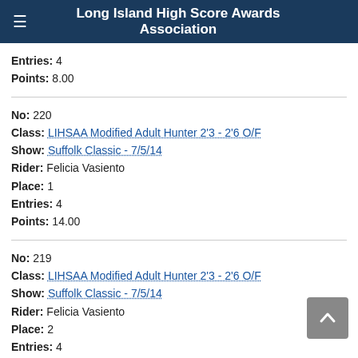Long Island High Score Awards Association
Entries: 4
Points: 8.00
No: 220
Class: LIHSAA Modified Adult Hunter 2'3 - 2'6 O/F
Show: Suffolk Classic - 7/5/14
Rider: Felicia Vasiento
Place: 1
Entries: 4
Points: 14.00
No: 219
Class: LIHSAA Modified Adult Hunter 2'3 - 2'6 O/F
Show: Suffolk Classic - 7/5/14
Rider: Felicia Vasiento
Place: 2
Entries: 4
Points: 10.00
No: 218
Class: LIHSAA Modified Adult Hunter 2'3 - 2'6 O/F